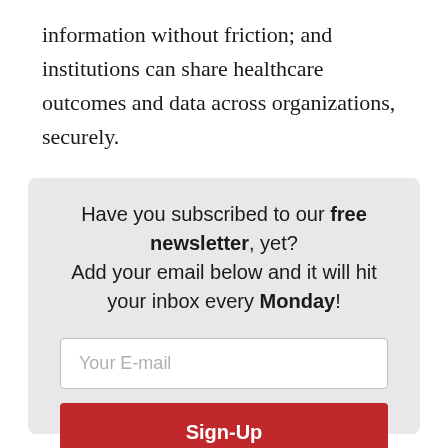information without friction; and institutions can share healthcare outcomes and data across organizations, securely.
Have you subscribed to our free newsletter, yet? Add your email below and it will hit your inbox every Monday!